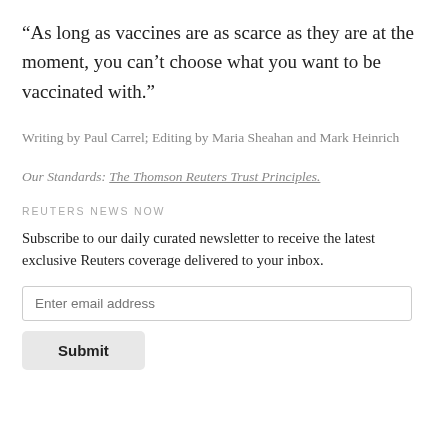“As long as vaccines are as scarce as they are at the moment, you can’t choose what you want to be vaccinated with.”
Writing by Paul Carrel; Editing by Maria Sheahan and Mark Heinrich
Our Standards: The Thomson Reuters Trust Principles.
REUTERS NEWS NOW
Subscribe to our daily curated newsletter to receive the latest exclusive Reuters coverage delivered to your inbox.